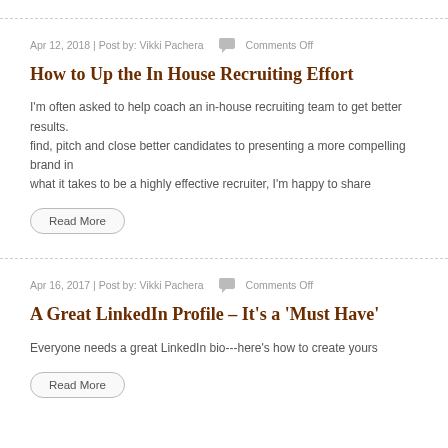Apr 12, 2018 | Post by: Vikki Pachera   Comments Off
How to Up the In House Recruiting Effort
I'm often asked to help coach an in-house recruiting team to get better results. find, pitch and close better candidates to presenting a more compelling brand i what it takes to be a highly effective recruiter, I'm happy to share
Read More
Apr 16, 2017 | Post by: Vikki Pachera   Comments Off
A Great LinkedIn Profile – It's a 'Must Have'
Everyone needs a great LinkedIn bio---here's how to create yours
Read More